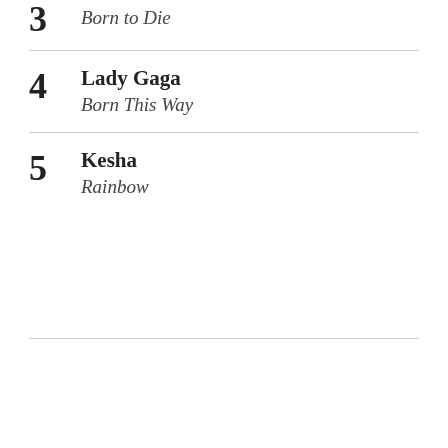3 Born to Die
4 Lady Gaga — Born This Way
5 Kesha — Rainbow